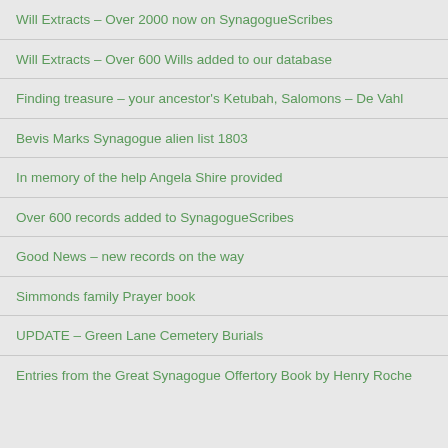Will Extracts – Over 2000 now on SynagogueScribes
Will Extracts – Over 600 Wills added to our database
Finding treasure – your ancestor's Ketubah, Salomons – De Vahl
Bevis Marks Synagogue alien list 1803
In memory of the help Angela Shire provided
Over 600 records added to SynagogueScribes
Good News – new records on the way
Simmonds family Prayer book
UPDATE – Green Lane Cemetery Burials
Entries from the Great Synagogue Offertory Book by Henry Roche